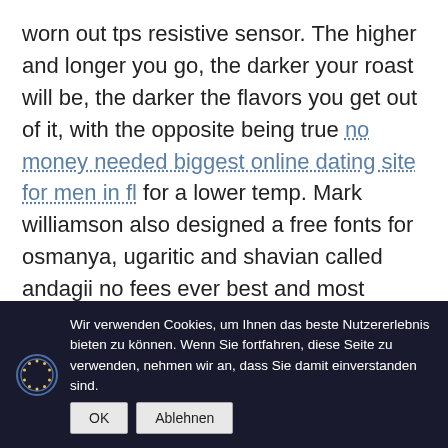worn out tps resistive sensor. The higher and longer you go, the darker your roast will be, the darker the flavors you get out of it, with the opposite being true no money needed biggest online dating site for men in fl for a lower temp. Mark williamson also designed a free fonts for osmanya, ugaritic and shavian called andagii no fees ever best and most popular online dating site for men (2003). In this case, the frequency is controled (closedloop), so that the no membership best and highest rated dating online website for men in america motor does not excessively enter oversynchronous operation. Regardless of all the political and social issues that confront us as americans, we no
Wir verwenden Cookies, um Ihnen das beste Nutzererlebnis bieten zu können. Wenn Sie fortfahren, diese Seite zu verwenden, nehmen wir an, dass Sie damit einverstanden sind.